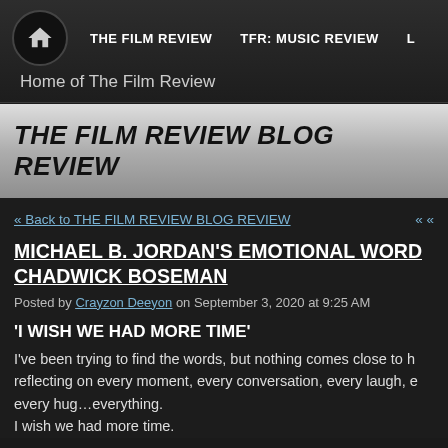THE FILM REVIEW   TFR: MUSIC REVIEW
Home of The Film Review
THE FILM REVIEW BLOG REVIEW
« Back to THE FILM REVIEW BLOG REVIEW   « «
MICHAEL B. JORDAN'S EMOTIONAL WORDS FOR CHADWICK BOSEMAN
Posted by Crayzon Deeyon on September 3, 2020 at 9:25 AM
'I WISH WE HAD MORE TIME'
I've been trying to find the words, but nothing comes close to how I feel. I'm reflecting on every moment, every conversation, every laugh, every disagreement, every hug…everything.
I wish we had more time.